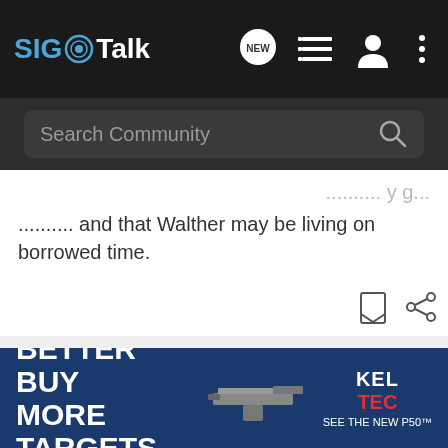SIG Talk
.......... and that Walther may be living on borrowed time.
[Figure (screenshot): Ad banner: BETTER BUY MORE TARGETS with Kel-Tec firearm and logo, See the New P50]